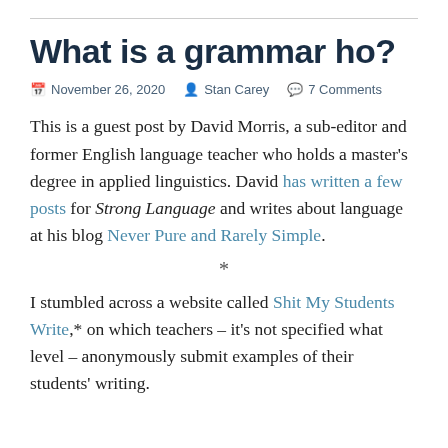What is a grammar ho?
November 26, 2020  Stan Carey  7 Comments
This is a guest post by David Morris, a sub-editor and former English language teacher who holds a master's degree in applied linguistics. David has written a few posts for Strong Language and writes about language at his blog Never Pure and Rarely Simple.
*
I stumbled across a website called Shit My Students Write,* on which teachers – it's not specified what level – anonymously submit examples of their students' writing.